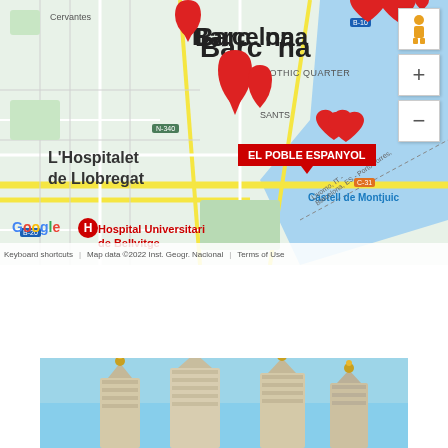[Figure (map): Google Maps screenshot showing Barcelona area with red heart/location pins marking tourist spots. EL POBLE ESPANYOL tooltip visible. Shows L'Hospitalet de Llobregat, Castell de Montjuic, Hospital Universitari de Bellvitge. Map controls (zoom +/-) and pegman visible on right side. Google logo and map attribution at bottom.]
YOU MAY BE ALSO INTERESTED
[Figure (photo): Photo of Sagrada Familia cathedral towers with ornate stone spires topped with golden decorations against a blue sky.]